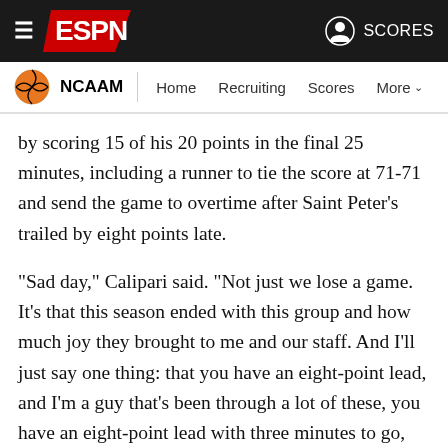ESPN NCAAM navigation bar
by scoring 15 of his 20 points in the final 25 minutes, including a runner to tie the score at 71-71 and send the game to overtime after Saint Peter's trailed by eight points late.
"Sad day," Calipari said. "Not just we lose a game. It's that this season ended with this group and how much joy they brought to me and our staff. And I'll just say one thing: that you have an eight-point lead, and I'm a guy that's been through a lot of these, you have an eight-point lead with three minutes to go, you win the game."
The Wildcats, a favorite to come out of the East Region and reach the Final Four, didn't enter the tournament playing as crisply as they wanted to. They had a late-season loss at Arkansas and then lost to Tennessee in the semifinals of the